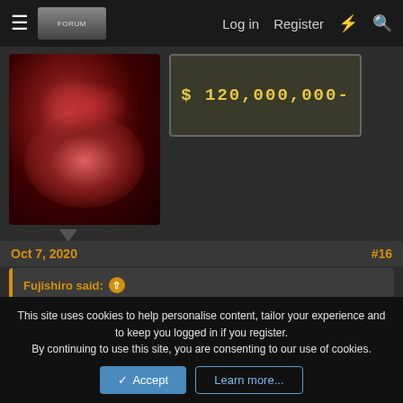Log in  Register
[Figure (screenshot): Forum navigation bar with hamburger menu, site logo image, Log in, Register links, and search/lightning icons]
[Figure (photo): Dark reddish creature/monster image on the left, and a dark banner image showing $120,000,000- text on the right]
Oct 7, 2020
#16
Fujishiro said: ↑
I will fam ,saw a vid from moistcritikal(dunno if you know him) that convinced me to keep going with the anime, and then after i catch up ima read the manga. Gotta get on that hype and talk with you guys on the threads.
Post automatically merged: Oct 7, 2020
This site uses cookies to help personalise content, tailor your experience and to keep you logged in if you register.
By continuing to use this site, you are consenting to our use of cookies.
Accept  Learn more...